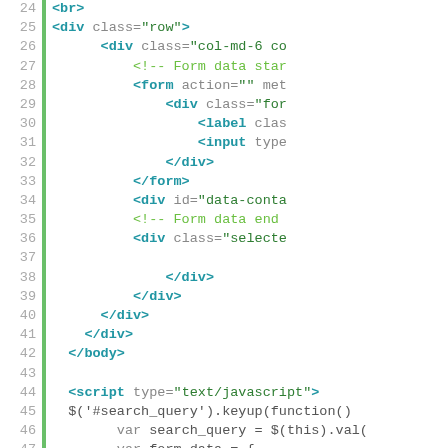[Figure (screenshot): Code editor screenshot showing HTML and JavaScript source code, lines 24-49, with line numbers and a green vertical bar on the left. Tags are in blue/teal, attribute values in green, comments in green, and JavaScript keywords in gray.]